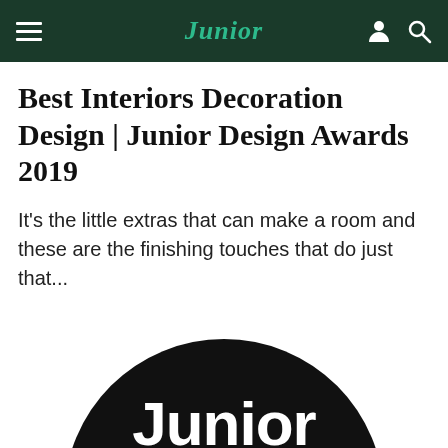Junior
Best Interiors Decoration Design | Junior Design Awards 2019
It's the little extras that can make a room and these are the finishing touches that do just that...
[Figure (logo): Junior Design Awards logo — black semicircle with white 'Junior' text and salmon/coral 'DESIGN' text below]